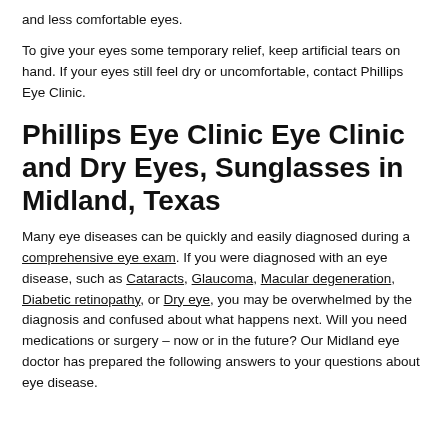and less comfortable eyes.
To give your eyes some temporary relief, keep artificial tears on hand. If your eyes still feel dry or uncomfortable, contact Phillips Eye Clinic.
Phillips Eye Clinic Eye Clinic and Dry Eyes, Sunglasses in Midland, Texas
Many eye diseases can be quickly and easily diagnosed during a comprehensive eye exam. If you were diagnosed with an eye disease, such as Cataracts, Glaucoma, Macular degeneration, Diabetic retinopathy, or Dry eye, you may be overwhelmed by the diagnosis and confused about what happens next. Will you need medications or surgery – now or in the future? Our Midland eye doctor has prepared the following answers to your questions about eye disease.